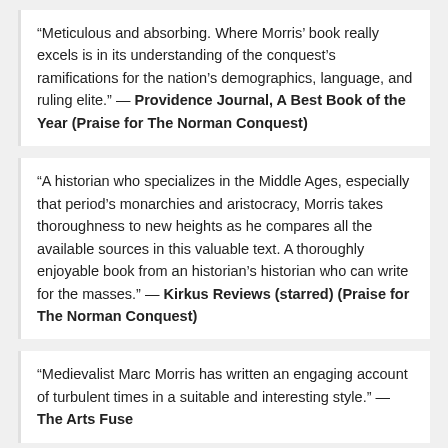“Meticulous and absorbing. Where Morris’ book really excels is in its understanding of the conquest’s ramifications for the nation’s demographics, language, and ruling elite.” — Providence Journal, A Best Book of the Year (Praise for The Norman Conquest)
“A historian who specializes in the Middle Ages, especially that period’s monarchies and aristocracy, Morris takes thoroughness to new heights as he compares all the available sources in this valuable text. A thoroughly enjoyable book from an historian’s historian who can write for the masses.” — Kirkus Reviews (starred) (Praise for The Norman Conquest)
"Medievalist Marc Morris has written an engaging account of turbulent times in a suitable and interesting style." — The Arts Fuse